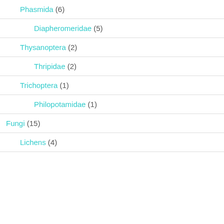Phasmida (6)
Diapheromeridae (5)
Thysanoptera (2)
Thripidae (2)
Trichoptera (1)
Philopotamidae (1)
Fungi (15)
Lichens (4)